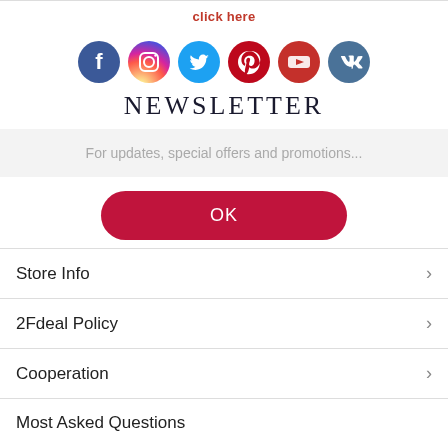click here
[Figure (illustration): Row of social media icons: Facebook, Instagram, Twitter, Pinterest, YouTube, VK]
NEWSLETTER
For updates, special offers and promotions...
OK
Store Info
2Fdeal Policy
Cooperation
Most Asked Questions